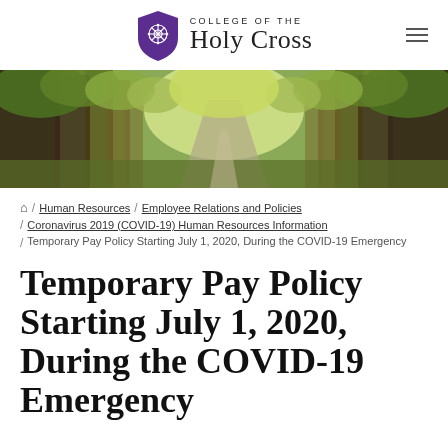COLLEGE OF THE Holy Cross
[Figure (photo): A tree-lined campus walkway/road with autumn foliage, sunlight filtering through large trees on both sides of a path leading into the distance.]
🏠 / Human Resources / Employee Relations and Policies / Coronavirus 2019 (COVID-19) Human Resources Information / Temporary Pay Policy Starting July 1, 2020, During the COVID-19 Emergency
Temporary Pay Policy Starting July 1, 2020, During the COVID-19 Emergency